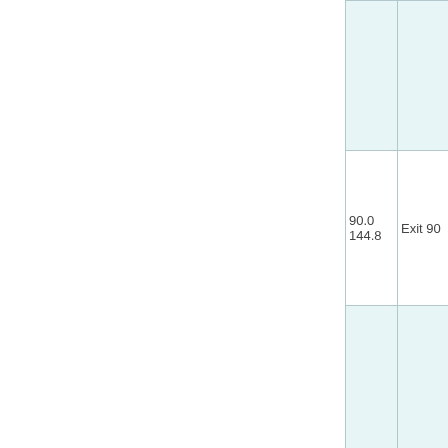|  |  |
| --- | --- |
|  |  |
| 90.0
144.8 | Exit 90 |
|  |  |